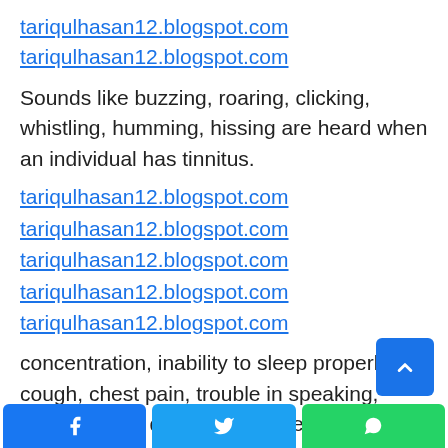tariqulhasan12.blogspot.com
tariqulhasan12.blogspot.com
Sounds like buzzing, roaring, clicking, whistling, humming, hissing are heard when an individual has tinnitus.
tariqulhasan12.blogspot.com
tariqulhasan12.blogspot.com
tariqulhasan12.blogspot.com
tariqulhasan12.blogspot.com
tariqulhasan12.blogspot.com
concentration, inability to sleep properly, cough, chest pain, trouble in speaking, muscle ache, depression, fever and loss of smell and taste have also been reported by people months after a COVID infection.